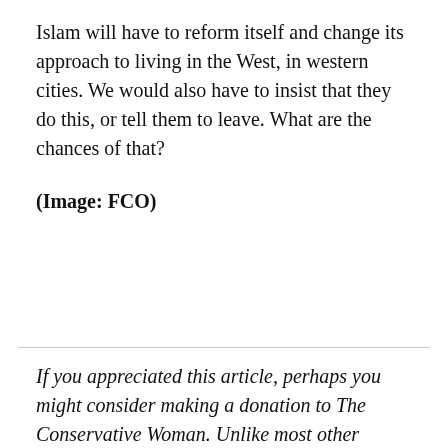Islam will have to reform itself and change its approach to living in the West, in western cities. We would also have to insist that they do this, or tell them to leave. What are the chances of that?
(Image: FCO)
If you appreciated this article, perhaps you might consider making a donation to The Conservative Woman. Unlike most other websites, we receive no independent funding. Our editors are unpaid and work entirely voluntarily as do the majority of our contributors but there are inevitable costs